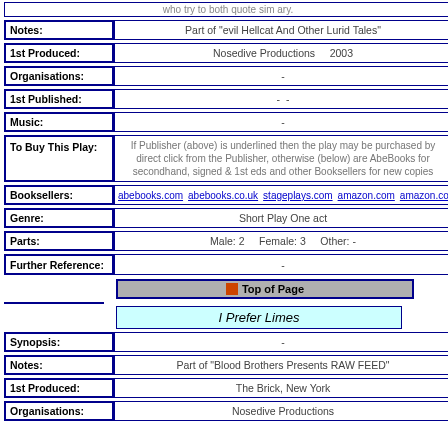| Field | Value |
| --- | --- |
| Notes: | Part of "evil Hellcat And Other Lurid Tales" |
| 1st Produced: | Nosedive Productions    2003 |
| Organisations: | - |
| 1st Published: | -  - |
| Music: | - |
| To Buy This Play: | If Publisher (above) is underlined then the play may be purchased by direct click from the Publisher, otherwise (below) are AbeBooks for secondhand, signed & 1st eds and other Booksellers for new copies |
| Booksellers: | abebooks.com  abebooks.co.uk  stageplays.com  amazon.com  amazon.co.uk  am... |
| Genre: | Short Play One act |
| Parts: | Male: 2    Female: 3    Other: - |
| Further Reference: | - |
| [Top of Page button] |  |
| I Prefer Limes |  |
| Synopsis: | - |
| Notes: | Part of "Blood Brothers Presents RAW FEED" |
| 1st Produced: | The Brick, New York |
| Organisations: | Nosedive Productions |